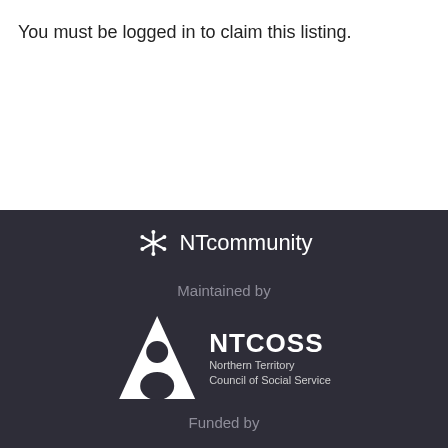You must be logged in to claim this listing.
[Figure (logo): NTcommunity logo with snowflake/people icon and text 'NTcommunity']
Maintained by
[Figure (logo): NTCOSS logo - triangle with person silhouette and text 'NTCOSS Northern Territory Council of Social Service']
Funded by